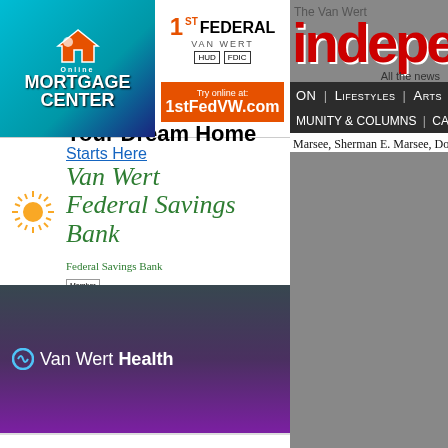[Figure (advertisement): Online Mortgage Center ad with teal/navy background on left, and 1st Federal Van Wert ad with orange URL box on right]
[Figure (advertisement): Van Wert Federal Savings Bank Your Dream Home Starts Here ad with sunburst logo, FDIC member badge]
[Figure (advertisement): Van Wert Health ad with purple/dark photo of building]
[Figure (advertisement): Van Wert Chamber ad with phone number 419-238-4390]
[Figure (logo): The Van Wert Independent newspaper masthead with red indepen... title]
ON | LIFESTYLES | ARTS | S
MUNITY & COLUMNS | CALENDAR
Marsee, Sherman E. Marsee, Donn
Wanda T. Stron, Juliet 35-1 in Convoy.
Marilyn K. Wolfcale, Marilyn Kaye Wolfcale, Michael Dean Wolfcale, Michae Charles Dennis Mengerink, Michael Jack Wolfcale, and Michelle Renee Hill Point, and a portion of section 6 in Jennings Township.
Brian D. O’Daffer, Rhonda O’Daffer, Rhonda Frowning, and Scott E. Frowni Steele Jr., inlets 128 and 129 in Middle Point.
Estate of Francis L. Dixon to Margaret L. Dixon, lot 7-8 in Van Wert subdivis
John W. Smith to Jeffrey D. Schaffner and Linda S. Schaffner, portion of sec Township.
Chet Straley and Lisa Straley to Matthew Joshua McMichael, a portion of in